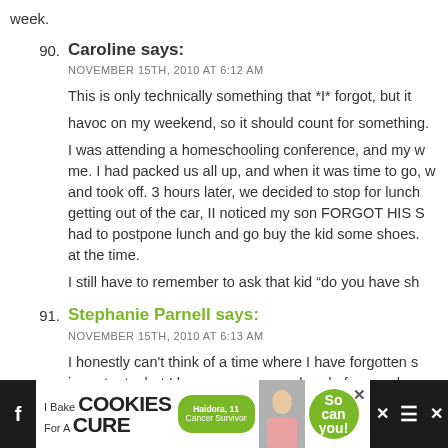week.
90. Caroline says: NOVEMBER 15TH, 2010 AT 6:12 AM
This is only technically something that *I* forgot, but it havoc on my weekend, so it should count for something.
I was attending a homeschooling conference, and my w me. I had packed us all up, and when it was time to go, w and took off. 3 hours later, we decided to stop for lunch getting out of the car, II noticed my son FORGOT HIS S had to postpone lunch and go buy the kid some shoes. at the time.
I still have to remember to ask that kid “do you have sh”
91. Stephanie Parnell says: NOVEMBER 15TH, 2010 AT 6:13 AM
I honestly can't think of a time where I have forgotten s important....but I have many years ahead of me and my
[Figure (screenshot): Advertisement banner: 'I Bake COOKIES For A CURE' with child photo, green circle with 'So can you!' text, and close button]